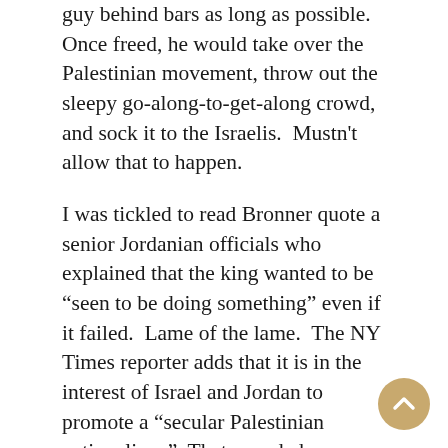guy behind bars as long as possible. Once freed, he would take over the Palestinian movement, throw out the sleepy go-along-to-get-along crowd, and sock it to the Israelis. Mustn't allow that to happen.
I was tickled to read Bronner quote a senior Jordanian officials who explained that the king wanted to be “seen to be doing something” even if it failed. Lame of the lame. The NY Times reporter adds that it is in the interest of Israel and Jordan to promote a “secular Palestinian nationalism.” That sounded curiously to me like it is in Israel and Jordanian interests to promote a Bantustan nationalism. A nationalism that won’t demand a nation. Quite a trick, that.
At one time there may’ve been a secular Palestinian nationalism, but it exists to about the same extent that Israeli secular nationalism exists. In both